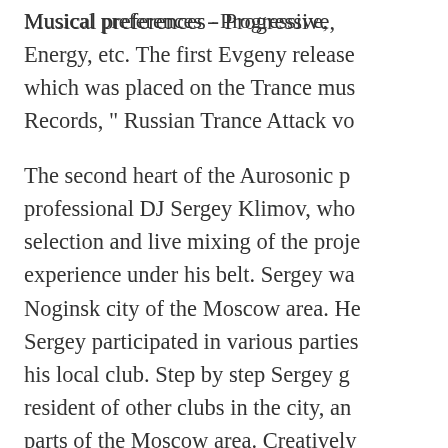Musical preferences - Progressive, Energy, etc. The first Evgeny release which was placed on the Trance mus Records, " Russian Trance Attack vo The second heart of the Aurosonic p professional DJ Sergey Klimov, who selection and live mixing of the proje experience under his belt. Sergey wa Noginsk city of the Moscow area. He Sergey participated in various parties his local club. Step by step Sergey g resident of other clubs in the city, an parts of the Moscow area. Creatively harmoniously unite the beauty and e this is seen in the positive emotions Klimov conducts his own show "Ethy VirusFM (www.virusfm.ru). In additio recognized as the best DJ of the Mo Owing to the joint efforts of these two project has considerably risen in the compositions have received mass su stars of the trance-scene, as: Armin Moor, Solarstone, Gareth Emery, Mi Thomas, Suzy Solar, Manuel le Sau Shah, Lens and many others. The m